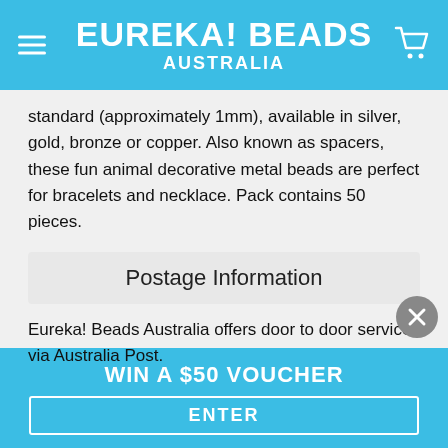EUREKA! BEADS AUSTRALIA
standard (approximately 1mm), available in silver, gold, bronze or copper. Also known as spacers, these fun animal decorative metal beads are perfect for bracelets and necklace. Pack contains 50 pieces.
Postage Information
Eureka! Beads Australia offers door to door service via Australia Post.
WIN A $50 VOUCHER
ENTER